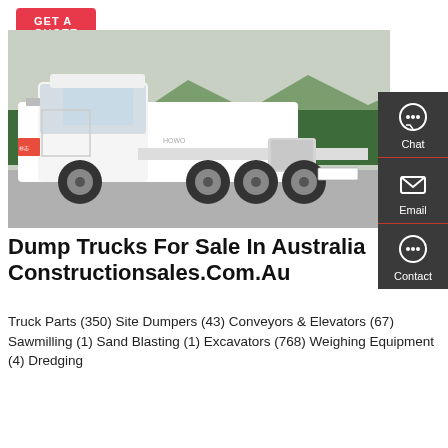[Figure (other): Red 'GET A QUOTE' button at top left]
[Figure (photo): White heavy-duty semi-truck / tractor unit photographed outdoors, side view, with mountains and trees in background]
[Figure (other): Dark sidebar with Chat, Email, and Contact icons on the right side]
Dump Trucks For Sale In Australia Constructionsales.Com.Au
Truck Parts (350) Site Dumpers (43) Conveyors & Elevators (67) Sawmilling (1) Sand Blasting (1) Excavators (768) Weighing Equipment (4) Dredging